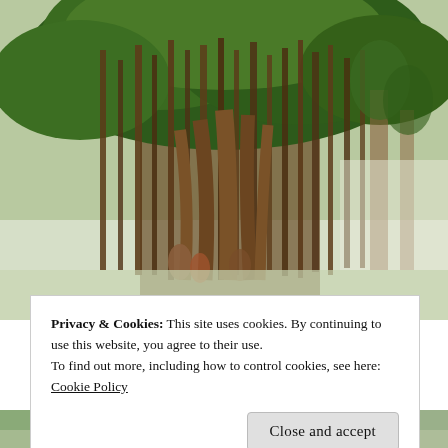[Figure (photo): A large banyan tree with extensive aerial roots hanging down, forming a curtain-like canopy. People visible at the base. Bright outdoor setting with green foliage and a light hazy background.]
Privacy & Cookies: This site uses cookies. By continuing to use this website, you agree to their use.
To find out more, including how to control cookies, see here:
Cookie Policy
[Figure (photo): Partial view of another outdoor photo at the bottom of the page, showing trees and possibly a street scene.]